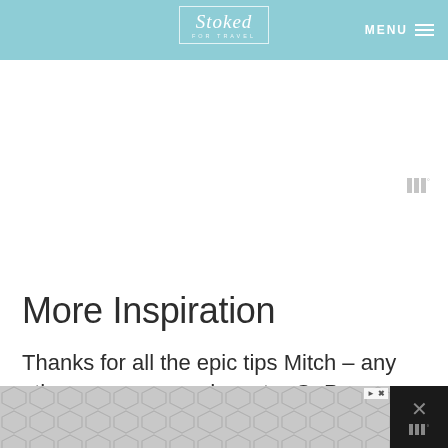Stoked for Travel — MENU
[Figure (other): Advertisement placeholder area with Wistia icon]
More Inspiration
Thanks for all the epic tips Mitch – any other awesome underwater GoPro photographers you'd suggest following?
[Figure (other): Bottom advertisement banner with hexagonal pattern and close button]